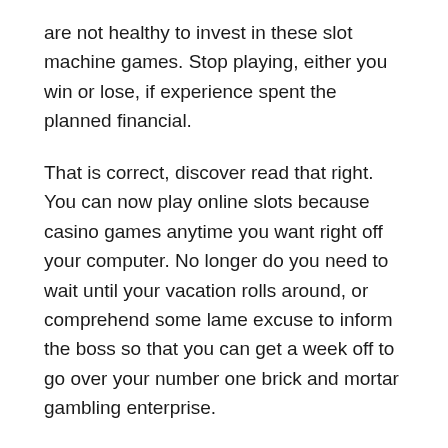are not healthy to invest in these slot machine games. Stop playing, either you win or lose, if experience spent the planned financial.
That is correct, discover read that right. You can now play online slots because casino games anytime you want right off your computer. No longer do you need to wait until your vacation rolls around, or comprehend some lame excuse to inform the boss so that you can get a week off to go over your number one brick and mortar gambling enterprise.
Online superslot slot online casino tournaments generally do n't want all players to start at once. There is usually a set amount of time that you'll have to play. Here